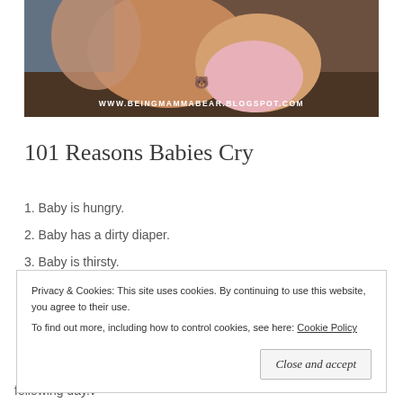[Figure (photo): Photo of a woman holding a baby, with URL overlay text 'WWW.BEINGMAMMABEAR.BLOGSPOT.COM' and a small bear icon]
101 Reasons Babies Cry
1. Baby is hungry.
2. Baby has a dirty diaper.
3. Baby is thirsty.
4. Baby is sleepy.
Privacy & Cookies: This site uses cookies. By continuing to use this website, you agree to their use.
To find out more, including how to control cookies, see here: Cookie Policy
[Close and accept]
following day.v